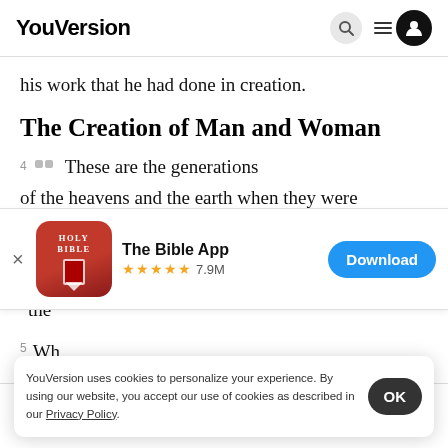YouVersion
his work that he had done in creation.
The Creation of Man and Woman
4 These are the generations
of the heavens and the earth when they were
[Figure (screenshot): The Bible App download banner with Holy Bible icon, 5-star rating 7.9M reviews, and Download button]
the
5 Wh
YouVersion uses cookies to personalize your experience. By using our website, you accept our use of cookies as described in our Privacy Policy.
Home | Bible | Plans | Videos